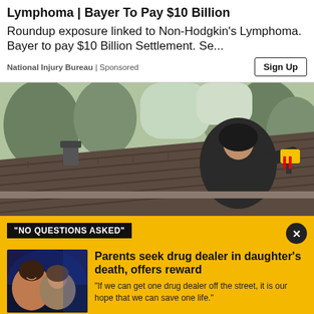Lymphoma | Bayer To Pay $10 Billion
Roundup exposure linked to Non-Hodgkin's Lymphoma. Bayer to pay $10 Billion Settlement. Se...
National Injury Bureau | Sponsored
[Figure (photo): Person in dark hoodie holding a yellow power tool, working on a rooftop with shingles; trees visible in background]
"NO QUESTIONS ASKED"
Parents seek drug dealer in daughter's death, offers reward
[Figure (photo): Two people posing together, smiling, at what appears to be an indoor event with blue lighting]
"If we can get one drug dealer off the street, it is our hope that we can save one life."